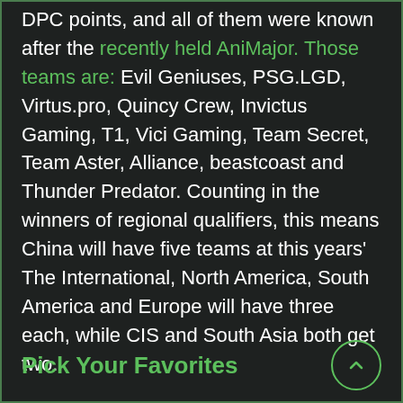DPC points, and all of them were known after the recently held AniMajor. Those teams are: Evil Geniuses, PSG.LGD, Virtus.pro, Quincy Crew, Invictus Gaming, T1, Vici Gaming, Team Secret, Team Aster, Alliance, beastcoast and Thunder Predator. Counting in the winners of regional qualifiers, this means China will have five teams at this years' The International, North America, South America and Europe will have three each, while CIS and South Asia both get two.
Pick Your Favorites